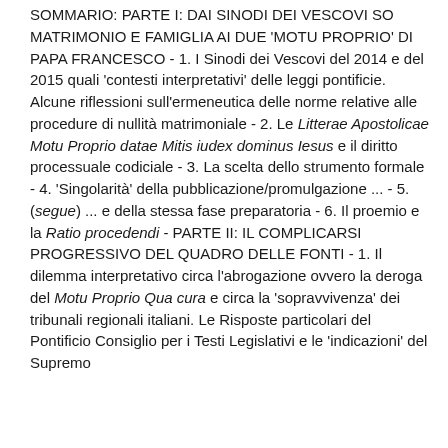SOMMARIO: PARTE I: DAI SINODI DEI VESCOVI SO MATRIMONIO E FAMIGLIA AI DUE 'MOTU PROPRIO' DI PAPA FRANCESCO - 1. I Sinodi dei Vescovi del 2014 e del 2015 quali 'contesti interpretativi' delle leggi pontificie. Alcune riflessioni sull'ermeneutica delle norme relative alle procedure di nullità matrimoniale - 2. Le Litterae Apostolicae Motu Proprio datae Mitis iudex dominus Iesus e il diritto processuale codiciale - 3. La scelta dello strumento formale - 4. 'Singolarità' della pubblicazione/promulgazione ... - 5. (segue) ... e della stessa fase preparatoria - 6. Il proemio e la Ratio procedendi - PARTE II: IL COMPLICARSI PROGRESSIVO DEL QUADRO DELLE FONTI - 1. Il dilemma interpretativo circa l'abrogazione ovvero la deroga del Motu Proprio Qua cura e circa la 'sopravvivenza' dei tribunali regionali italiani. Le Risposte particolari del Pontificio Consiglio per i Testi Legislativi e le 'indicazioni' del Supremo